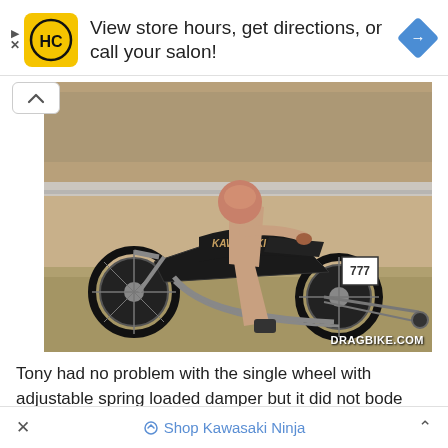[Figure (other): Advertisement banner: HC logo (yellow square with HC letters), text 'View store hours, get directions, or call your salon!', blue diamond arrow icon on right]
[Figure (photo): Vintage sepia/toned photograph of a Kawasaki motorcycle drag bike with number 777 plate, rider in pink/beige racing suit and helmet crouching beside it on a racetrack. Wheelie bar visible. Watermark: DRAGBIKE.COM]
Tony had no problem with the single wheel with adjustable spring loaded damper but it did not bode well with potential
× Shop Kawasaki Ninja ^